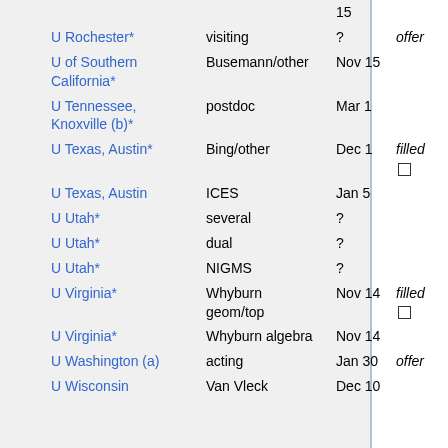| Institution | Area/Fellowship | Deadline | Status |
| --- | --- | --- | --- |
|  |  | 15 |  |
| U Rochester* | visiting | ? | offer |
| U of Southern California* | Busemann/other | Nov 15 |  |
| U Tennessee, Knoxville (b)* | postdoc | Mar 1 |  |
| U Texas, Austin* | Bing/other | Dec 1 | filled □ |
| U Texas, Austin | ICES | Jan 5 |  |
| U Utah* | several | ? |  |
| U Utah* | dual | ? |  |
| U Utah* | NIGMS | ? |  |
| U Virginia* | Whyburn geom/top | Nov 14 | filled □ |
| U Virginia* | Whyburn algebra | Nov 14 |  |
| U Washington (a) | acting | Jan 30 | offer |
| U Wisconsin | Van Vleck | Dec 10 |  |